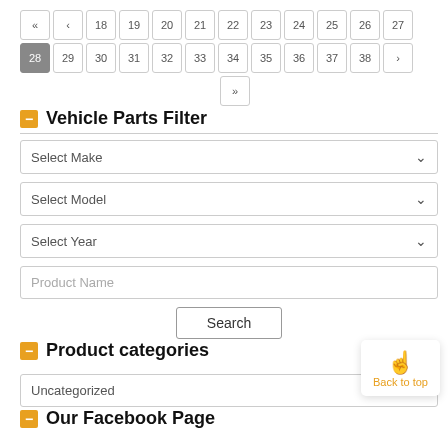Vehicle Parts Filter
Product categories
Our Facebook Page